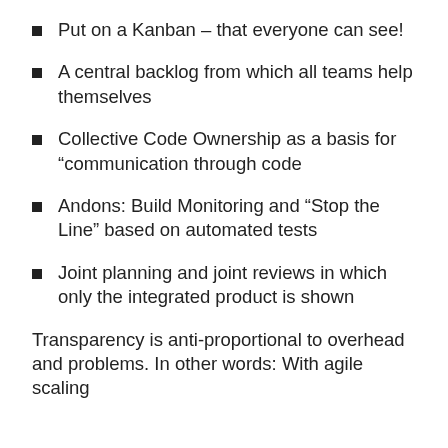Put on a Kanban – that everyone can see!
A central backlog from which all teams help themselves
Collective Code Ownership as a basis for “communication through code
Andons: Build Monitoring and “Stop the Line” based on automated tests
Joint planning and joint reviews in which only the integrated product is shown
Transparency is anti-proportional to overhead and problems. In other words: With agile scaling